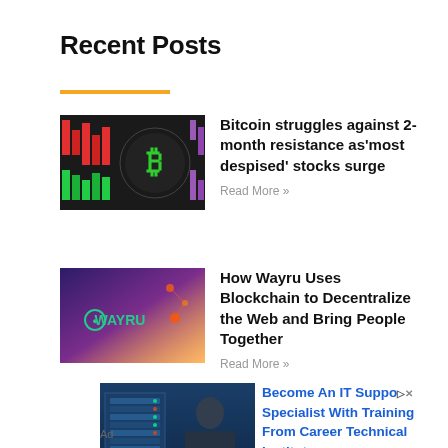Recent Posts
[Figure (photo): Bitcoin/crypto market display with green and red ticker bars and Bitcoin logo]
Bitcoin struggles against 2-month resistance as‘most despised’ stocks surge
Read More »
[Figure (photo): Purple/blue Wayru logo image with network graphic]
How Wayru Uses Blockchain to Decentralize the Web and Bring People Together
Read More »
[Figure (photo): IT specialist working in server room with blue-tinted data center racks]
Become An IT Support Specialist With Training From Career Technical Institute
Ad